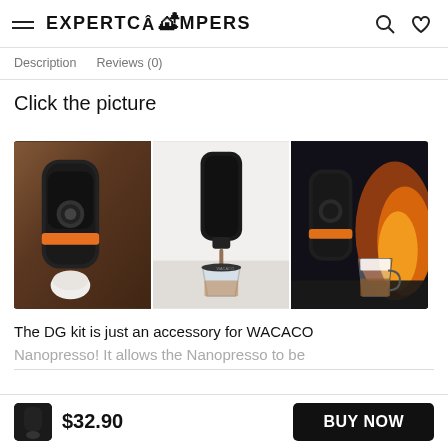EXPERTCAMPERS
Description   Reviews (0)
Click the picture
[Figure (photo): Three product photos of WACACO Nanopresso portable espresso maker: left panel shows the device on a wooden surface with an orange accent ring and white capsule; center panel shows the device being used under a kitchen faucet making espresso into a glass cup; right panel shows the device next to a latte cup in front of a fire]
The DG kit is just an accessory for WACACO
Nanopresso! It allows the Nanopresso to be
$32.90
BUY NOW